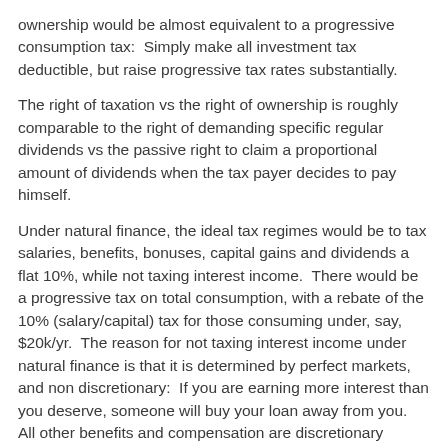ownership would be almost equivalent to a progressive consumption tax:  Simply make all investment tax deductible, but raise progressive tax rates substantially.
The right of taxation vs the right of ownership is roughly comparable to the right of demanding specific regular dividends vs the passive right to claim a proportional amount of dividends when the tax payer decides to pay himself.
Under natural finance, the ideal tax regimes would be to tax salaries, benefits, bonuses, capital gains and dividends a flat 10%, while not taxing interest income.  There would be a progressive tax on total consumption, with a rebate of the 10% (salary/capital) tax for those consuming under, say, $20k/yr.  The reason for not taxing interest income under natural finance is that it is determined by perfect markets, and non discretionary:  If you are earning more interest than you deserve, someone will buy your loan away from you.  All other benefits and compensation are discretionary agreements.  Corporate taxes would be replaced with passive ownership benefits.